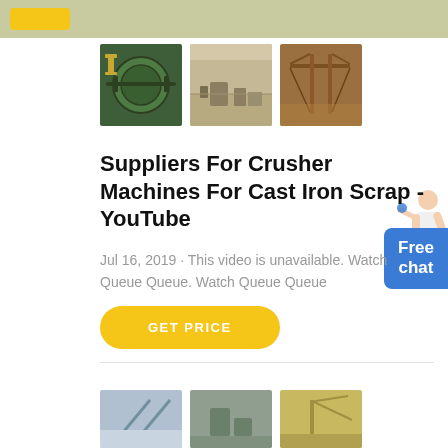[Figure (photo): Three industrial machinery photos in a row: a green rotating drum/ball mill, an aerial view of a quarry/mining plant, and a rusty metal crusher structure]
Suppliers For Crusher Machines For Cast Iron Scrap - YouTube
Jul 16, 2019 · This video is unavailable. Watch Queue Queue. Watch Queue Queue
[Figure (illustration): GET PRICE button in yellow/gold rounded rectangle]
[Figure (illustration): Free chat button box in blue with person figure illustration]
[Figure (photo): Three industrial machinery photos at the bottom of the page (partial): metal structures at a quarry/mine site]